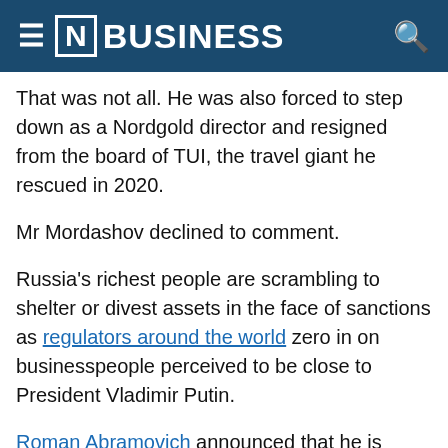≡ [N] BUSINESS 🔍
That was not all. He was also forced to step down as a Nordgold director and resigned from the board of TUI, the travel giant he rescued in 2020.
Mr Mordashov declined to comment.
Russia's richest people are scrambling to shelter or divest assets in the face of sanctions as regulators around the world zero in on businesspeople perceived to be close to President Vladimir Putin.
Roman Abramovich announced that he is selling Chelsea Football Club, while sanctioned oligarchs Petr Aven and Mikhail Fridman have